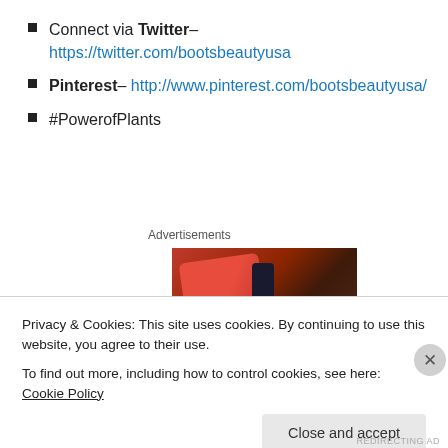Connect via Twitter– https://twitter.com/bootsbeautyusa
Pinterest– http://www.pinterest.com/bootsbeautyusa/
#PowerofPlants
Advertisements
[Figure (photo): Advertisement image showing a basket/box with beauty products including a red package, a dark bottle spray, and other items.]
Privacy & Cookies: This site uses cookies. By continuing to use this website, you agree to their use.
To find out more, including how to control cookies, see here: Cookie Policy
Close and accept